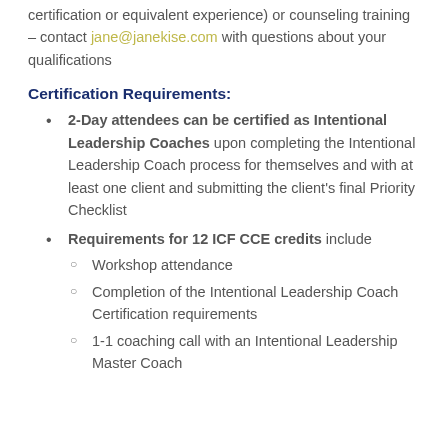certification or equivalent experience) or counseling training – contact jane@janekise.com with questions about your qualifications
Certification Requirements:
2-Day attendees can be certified as Intentional Leadership Coaches upon completing the Intentional Leadership Coach process for themselves and with at least one client and submitting the client's final Priority Checklist
Requirements for 12 ICF CCE credits include
Workshop attendance
Completion of the Intentional Leadership Coach Certification requirements
1-1 coaching call with an Intentional Leadership Master Coach